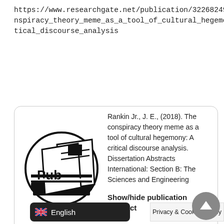https://www.researchgate.net/publication/322682499_The_conspiracy_theory_meme_as_a_tool_of_cultural_hegemony_A_critical_discourse_analysis
[Figure (logo): ResearchGate Pub logo — circular black and white illustration of books/publication with 'Pub' text]
Rankin Jr., J. E., (2018). The conspiracy theory meme as a tool of cultural hegemony: A critical discourse analysis. Dissertation Abstracts International: Section B: The Sciences and Engineering
Show/hide publication abstract
Abstract (Summary)
Tho  e offic suspicious